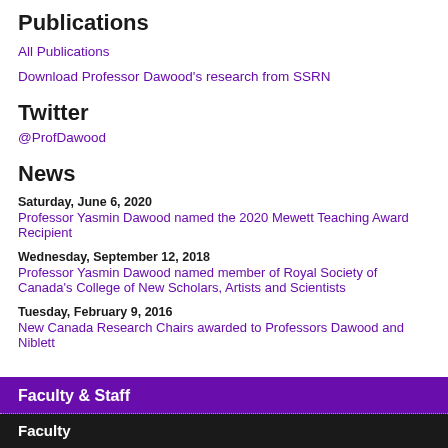Publications
All Publications
Download Professor Dawood's research from SSRN
Twitter
@ProfDawood
News
Saturday, June 6, 2020
Professor Yasmin Dawood named the 2020 Mewett Teaching Award Recipient
Wednesday, September 12, 2018
Professor Yasmin Dawood named member of Royal Society of Canada's College of New Scholars, Artists and Scientists
Tuesday, February 9, 2016
New Canada Research Chairs awarded to Professors Dawood and Niblett
Faculty & Staff
Faculty